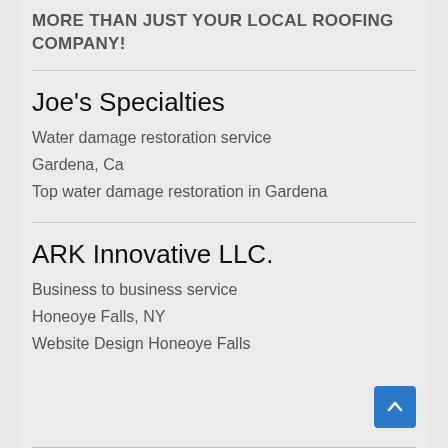MORE THAN JUST YOUR LOCAL ROOFING COMPANY!
Joe's Specialties
Water damage restoration service
Gardena, Ca
Top water damage restoration in Gardena
ARK Innovative LLC.
Business to business service
Honeoye Falls, NY
Website Design Honeoye Falls